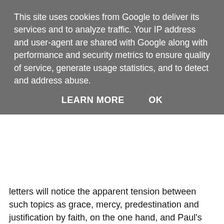This site uses cookies from Google to deliver its services and to analyze traffic. Your IP address and user-agent are shared with Google along with performance and security metrics to ensure quality of service, generate usage statistics, and to detect and address abuse.
LEARN MORE   OK
letters will notice the apparent tension between such topics as grace, mercy, predestination and justification by faith, on the one hand, and Paul's clear statements of judgment according to works, on the other. For example, in 2 Cor 5:10 Paul writes: 'For all of us must appear before the judgment seat of Christ, so that each may receive recompense for what has been done in the body, whether good or evil.' After reviewing the scholarly responses to this problem, VanL maintains that their suggestions 'still have not come to terms with how a forensic justification by faith can be reconciled with a judgment according to deeds' (15). Instead, VanL has his own very original thesis to propose as a solution to this supposed problem, one which he pursues is in critical dialogue with E. P. Sanders and his notion of covenantal nomism, and particularly Sanders' notion 'that in Palestinian